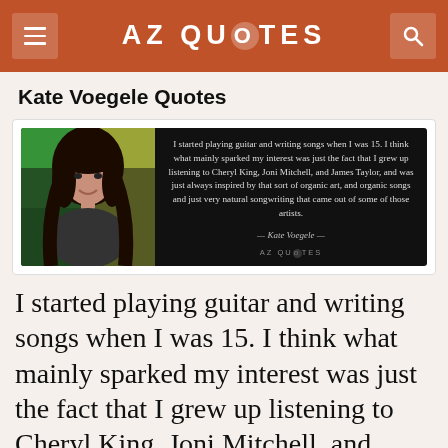AZ QUOTES
Kate Voegele Quotes
[Figure (photo): Quote card image showing Kate Voegele photo on left with dark background and quote text on right: 'I started playing guitar and writing songs when I was 15. I think what mainly sparked my interest was just the fact that I grew up listening to Cheryl King, Joni Mitchell, and James Taylor, and was just always inspired by that sort of organic art, and organic songs and just very natural songwriting that came out of some of those artists.' — Kate Voegele — AZ QUOTES]
I started playing guitar and writing songs when I was 15. I think what mainly sparked my interest was just the fact that I grew up listening to Cheryl King, Joni Mitchell, and James Taylor, and was just always inspired by that sort of organic art, and organic songs and just very natural songwriting that came out of some of those artists.